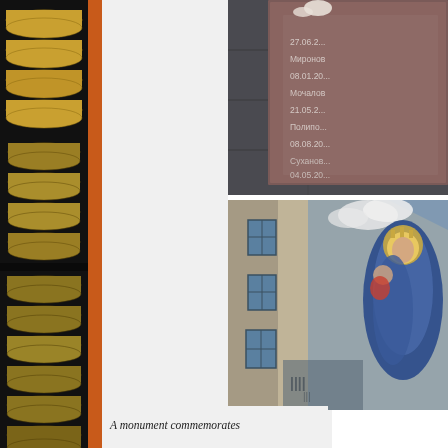[Figure (photo): Stack of gold/bronze coins viewed from the side, arranged in two rows against a dark background, left vertical strip]
[Figure (photo): Memorial plaque on stone wall with Cyrillic text listing names and dates, partially visible: 27.06.2..., Миронов, 08.01.20..., Мочалов, 21.05.2..., Полипо..., 08.08.20..., Суханов..., 04.05.20...]
[Figure (photo): Building facade with windows and a large painted mural depicting a religious or historical figure (woman with golden crown and child), photographed at an angle]
A monument commemorates